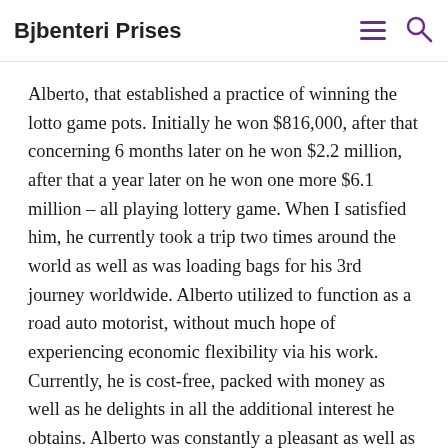Bjbenteri Prises
extra cash. Time earlier at a celebration, I fulfilled a man, Alberto, that established a practice of winning the lotto game pots. Initially he won $816,000, after that concerning 6 months later on he won $2.2 million, after that a year later on he won one more $6.1 million – all playing lottery game. When I satisfied him, he currently took a trip two times around the world as well as was loading bags for his 3rd journey worldwide. Alberto utilized to function as a road auto motorist, without much hope of experiencing economic flexibility via his work. Currently, he is cost-free, packed with money as well as he delights in all the additional interest he obtains. Alberto was constantly a pleasant as well as a caring type of individual, assisting individuals around him as well as this